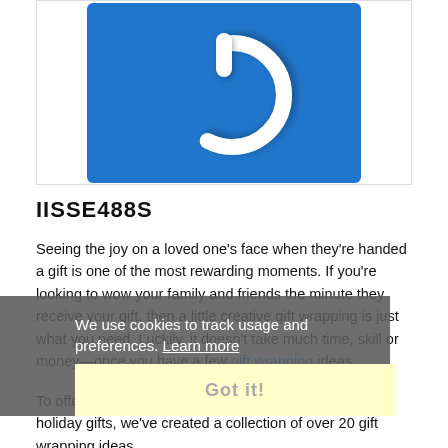[Figure (logo): Blue square with white 3D power button icon in the center]
IISSE488S
Seeing the joy on a loved one's face when they're handed a gift is one of the most rewarding moments. If you're looking to wow your family and friends the minute they receive your gift, then a little creative gift wrapping is just what you need. Luckily, it doesn't take much time, skill or money—once you have a few gift wrapping ideas.
We use cookies to track usage and preferences. Learn more
Got it!
To offer you inspiration for your Christmas, birthday or holiday gifts, we've created a collection of over 20 gift wrapping ideas